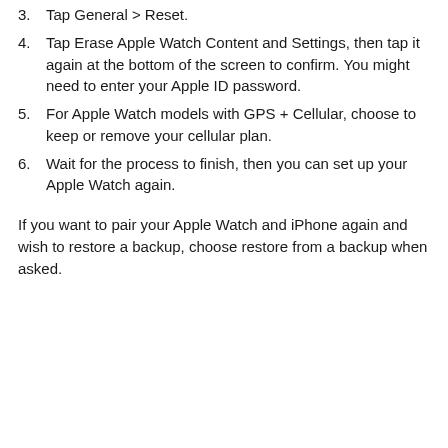3. Tap General > Reset.
4. Tap Erase Apple Watch Content and Settings, then tap it again at the bottom of the screen to confirm. You might need to enter your Apple ID password.
5. For Apple Watch models with GPS + Cellular, choose to keep or remove your cellular plan.
6. Wait for the process to finish, then you can set up your Apple Watch again.
If you want to pair your Apple Watch and iPhone again and wish to restore a backup, choose restore from a backup when asked.